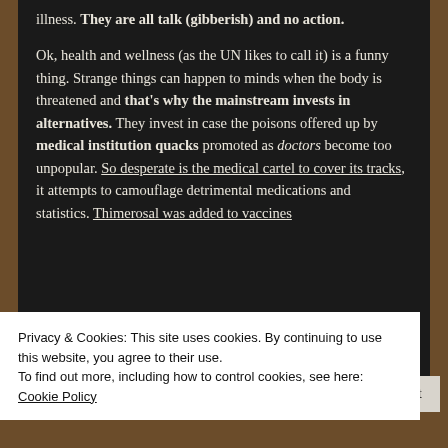illness. They are all talk (gibberish) and no action.

Ok, health and wellness (as the UN likes to call it) is a funny thing. Strange things can happen to minds when the body is threatened and that's why the mainstream invests in alternatives. They invest in case the poisons offered up by medical institution quacks promoted as doctors become too unpopular. So desperate is the medical cartel to cover its tracks, it attempts to camouflage detrimental medications and statistics. Thimerosal was added to vaccines
Privacy & Cookies: This site uses cookies. By continuing to use this website, you agree to their use.
To find out more, including how to control cookies, see here:
Cookie Policy
Close and accept